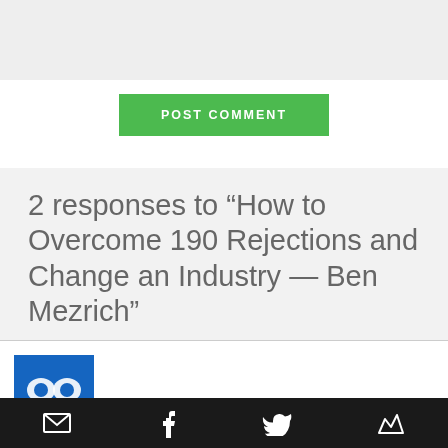[Figure (screenshot): Top form area with light gray background]
POST COMMENT
2 responses to “How to Overcome 190 Rejections and Change an Industry – Ben Mezrich”
[Figure (photo): Comment card with blue avatar image partially visible]
Social share icons: email, facebook, twitter, feather/bookmark